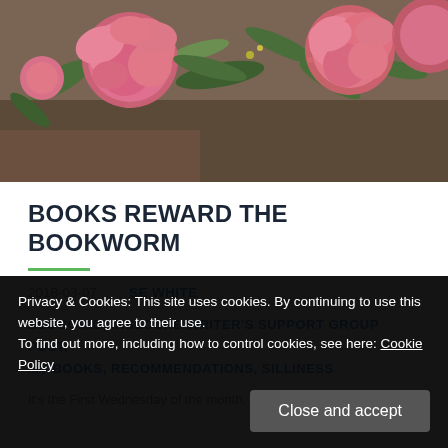[Figure (photo): Floral photo banner showing pink peonies and greenery arranged in a bouquet]
BOOKS REWARD THE BOOKWORM
2018-03-07   SE WHITE
BLOGGING, INSECURE WRITER'S SUPPORT GROUP POST, MY BOOKS, RECOMMENDATIONS, SILLINESS
Privacy & Cookies: This site uses cookies. By continuing to use this website, you agree to their use. To find out more, including how to control cookies, see here: Cookie Policy
Close and accept